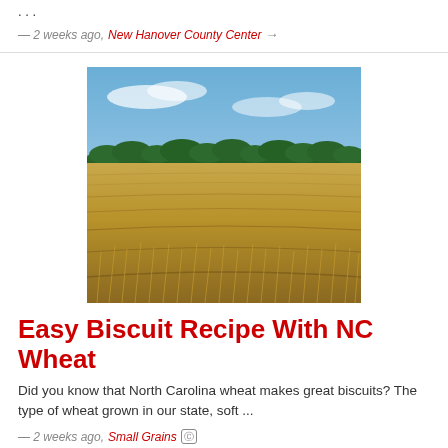...
— 2 weeks ago, New Hanover County Center →
[Figure (photo): Photograph of a golden wheat field under a blue sky with trees on the horizon]
Easy Biscuit Recipe With NC Wheat
Did you know that North Carolina wheat makes great biscuits? The type of wheat grown in our state, soft ...
— 2 weeks ago, Small Grains